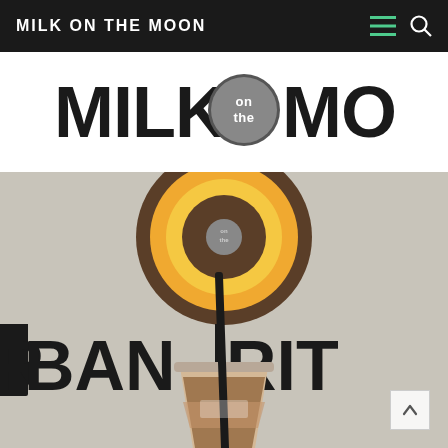MILK ON THE MOON
[Figure (logo): Milk on the Moon logo in bold serif/sans letters with a circular emblem in the center containing 'on the' text]
[Figure (photo): Interior photo of a cafe called Urban Rite showing a circular illuminated wooden sign on a white wall, with a plastic iced drink cup with a black straw in the foreground. Large dark block letters on the wall spell 'RBAN RIT'.]